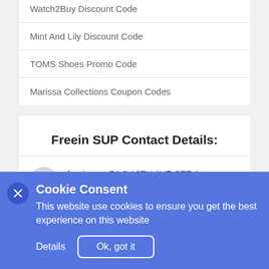Watch2Buy Discount Code
Mint And Lily Discount Code
TOMS Shoes Promo Code
Marissa Collections Coupon Codes
Freein SUP Contact Details:
freeinsup, 54 S 18TH AVE STE A
BRIGHTON, CO 80601
info@freeinsup.com
Cookie Consent
This website use cookies to ensure you get the best experience on this website
Details
Ok, got it